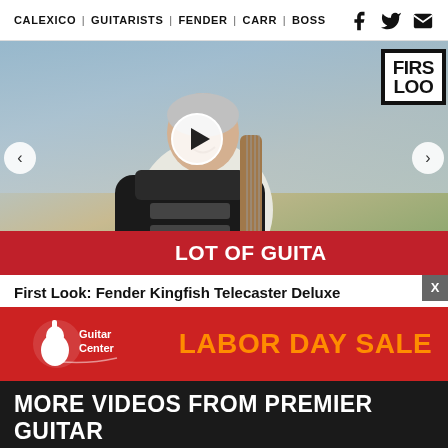CALEXICO | GUITARISTS | FENDER | CARR | BOSS
[Figure (photo): Video thumbnail showing man with electric guitar, 'First Look' banner top right, red band at bottom reading 'A LOT OF GUITA', play button overlay, left and right carousel navigation arrows]
First Look: Fender Kingfish Telecaster Deluxe
[Figure (other): Guitar Center Labor Day Sale advertisement banner with logo and orange text]
MORE VIDEOS FROM PREMIER GUITAR